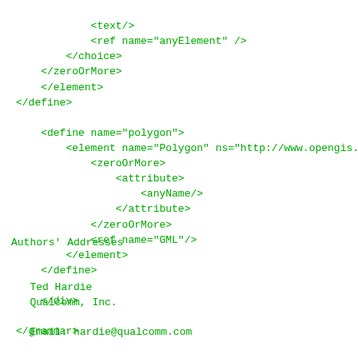<text/>
            <ref name="anyElement" />
        </choice>
    </zeroOrMore>
    </element>
</define>

<define name="polygon">
    <element name="Polygon" ns="http://www.opengis.ne
        <zeroOrMore>
            <attribute>
                <anyName/>
            </attribute>
        </zeroOrMore>
        <ref name="GML"/>
    </element>
</define>

    </div>

</grammar>
Authors' Addresses
Ted Hardie
   Qualcomm, Inc.

   Email: hardie@qualcomm.com

   Andrew Newton